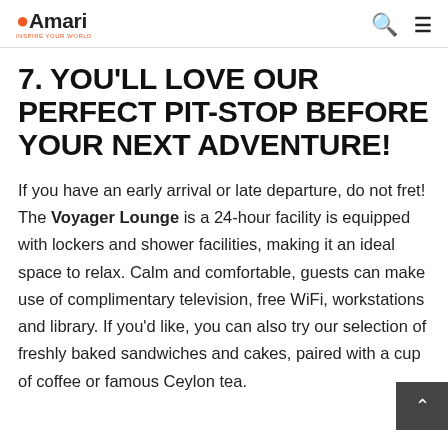Amari — Inspire Your World
7. YOU'LL LOVE OUR PERFECT PIT-STOP BEFORE YOUR NEXT ADVENTURE!
If you have an early arrival or late departure, do not fret! The Voyager Lounge is a 24-hour facility is equipped with lockers and shower facilities, making it an ideal space to relax. Calm and comfortable, guests can make use of complimentary television, free WiFi, workstations and library. If you'd like, you can also try our selection of freshly baked sandwiches and cakes, paired with a cup of coffee or famous Ceylon tea.